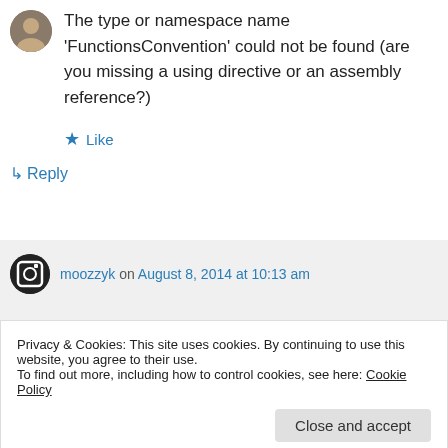[Figure (photo): User avatar photo of a person]
The type or namespace name 'FunctionsConvention' could not be found (are you missing a using directive or an assembly reference?)
★ Like
↪ Reply
[Figure (logo): moozzyk user avatar icon with camera/record symbol]
moozzyk on August 8, 2014 at 10:13 am
Privacy & Cookies: This site uses cookies. By continuing to use this website, you agree to their use.
To find out more, including how to control cookies, see here: Cookie Policy
Close and accept
the steps – are you targeting .NET